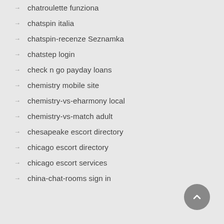chatroulette funziona
chatspin italia
chatspin-recenze Seznamka
chatstep login
check n go payday loans
chemistry mobile site
chemistry-vs-eharmony local
chemistry-vs-match adult
chesapeake escort directory
chicago escort directory
chicago escort services
china-chat-rooms sign in